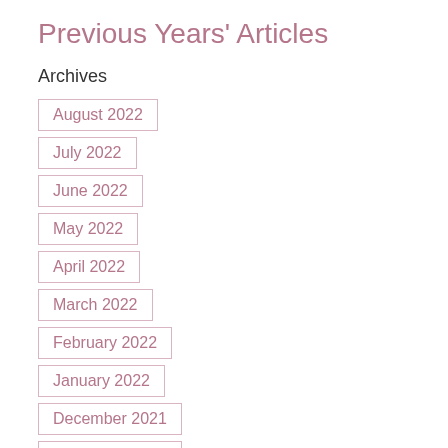Previous Years' Articles
Archives
August 2022
July 2022
June 2022
May 2022
April 2022
March 2022
February 2022
January 2022
December 2021
November 2021
October 2021
September 2021